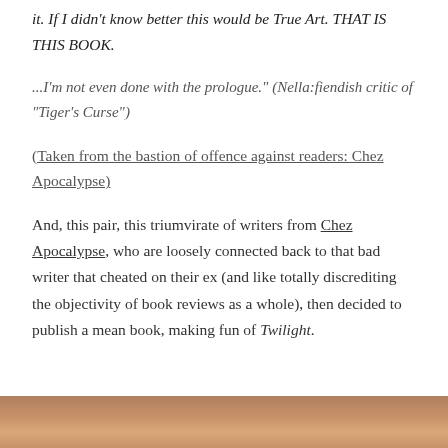it. If I didn't know better this would be True Art. THAT IS THIS BOOK.
...I'm not even done with the prologue." (Nella:fiendish critic of "Tiger's Curse")
(Taken from the bastion of offence against readers: Chez Apocalypse)
And, this pair, this triumvirate of writers from Chez Apocalypse, who are loosely connected back to that bad writer that cheated on their ex (and like totally discrediting the objectivity of book reviews as a whole), then decided to publish a mean book, making fun of Twilight.
[Figure (photo): Bottom strip showing partial image, appears to be a person or scene in warm/orange tones]